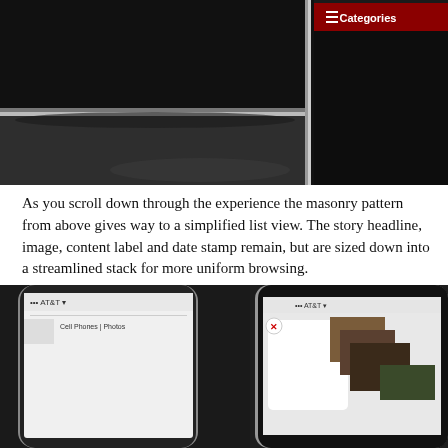[Figure (screenshot): Close-up photo of tablet/iPad device showing a dark interface with Categories navigation bar with red background and hamburger menu icon, two devices overlapping on a dark background]
As you scroll down through the experience the masonry pattern from above gives way to a simplified list view. The story headline, image, content label and date stamp remain, but are sized down into a streamlined stack for more uniform browsing.
[Figure (screenshot): Photo of two mobile devices (iPhone and iPad) on dark background showing AT&T signal screens with app interface, a popup card with red X close button, and image thumbnails]